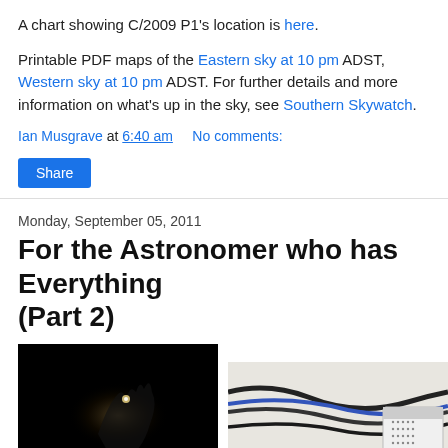A chart showing C/2009 P1's location is here.
Printable PDF maps of the Eastern sky at 10 pm ADST, Western sky at 10 pm ADST. For further details and more information on what's up in the sky, see Southern Skywatch.
Ian Musgrave at 6:40 am    No comments:
Share
Monday, September 05, 2011
For the Astronomer who has Everything (Part 2)
[Figure (photo): Dark photo showing a hand holding a small glowing object against a black background]
[Figure (photo): Photo showing cables and computer equipment, appears to be wires/cords on a white surface with a device in the background]